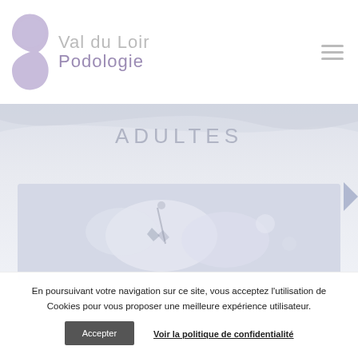[Figure (logo): Val du Loir Podologie logo with stylized purple leaf/foot shape and grey text]
ADULTES
[Figure (photo): Close-up photo of hands/feet treatment in a podology context, light blue-grey toned]
En poursuivant votre navigation sur ce site, vous acceptez l'utilisation de Cookies pour vous proposer une meilleure expérience utilisateur.
Accepter
Voir la politique de confidentialité